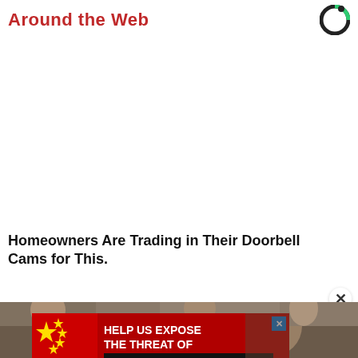Around the Web
Homeowners Are Trading in Their Doorbell Cams for This.
[Figure (photo): Advertisement banner: 'HELP US EXPOSE THE THREAT OF COMMUNIST CHINA' with red background, Chinese flag imagery on left, and portrait of a person on the right. Blue X close button in top-right corner.]
[Figure (photo): Partial photo strip showing people, cropped at page edges.]